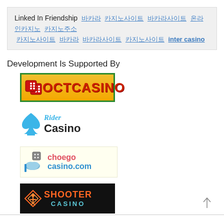Linked In Friendship [links in Korean and 'inter casino']
Development Is Supported By
[Figure (logo): OCTCASINO logo - yellow/orange background with green border, red dice graphic on left, red bold text 'OCTCASINO']
[Figure (logo): Rider Casino logo - blue spade/club card suit icon, blue italic 'Rider' text above bold black 'Casino' text]
[Figure (logo): choego casino.com logo - light yellow background, hand with dice graphic, pink 'choego' text and blue 'casino.com' text]
[Figure (logo): SHOOTER CASINO logo - black background, orange/gold shooter icon, orange 'SHOOTER' text and cyan 'CASINO' text]